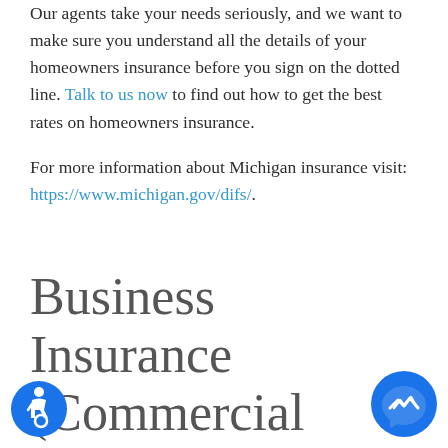Our agents take your needs seriously, and we want to make sure you understand all the details of your homeowners insurance before you sign on the dotted line. Talk to us now to find out how to get the best rates on homeowners insurance.
For more information about Michigan insurance visit: https://www.michigan.gov/difs/.
Business Insurance (Commercial Insurance) in Pleasant Ridge